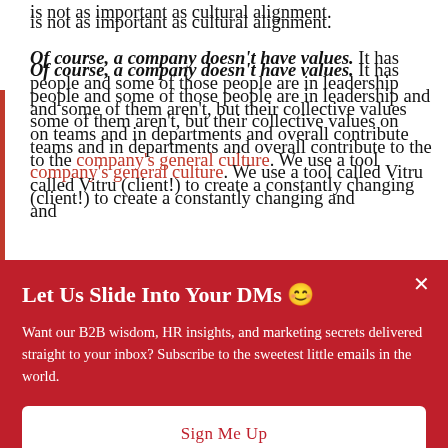is not as important as cultural alignment.
Of course, a company doesn't have values. It has people and some of those people are in leadership and some of them aren't, but their collective values on teams and in departments and overall contribute to the company's general culture. We use a tool called Vitru (client!) to create a constantly changing and
Let Us Slide Into Your DMs 😊
Want our B2B wisdom, HR insights, and marketing secrets delivered straight to your inbox? Subscribe to the sweetest little emails in the world.
Sign Me Up